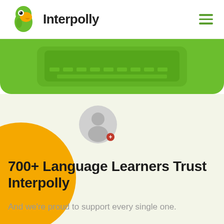[Figure (logo): Interpolly logo: green parrot mascot with orange beak on the left, and the text 'Interpolly' in bold dark font on the right. A hamburger menu icon (three green horizontal lines) is in the top-right corner.]
[Figure (illustration): Green rounded banner showing a green tablet/laptop device illustration on a bright green background.]
[Figure (illustration): A grey user/person avatar icon with a small red plus badge, positioned over a light cream background section, with a large orange circle partially visible on the left.]
700+ Language Learners Trust Interpolly
And we're proud to support every single one.